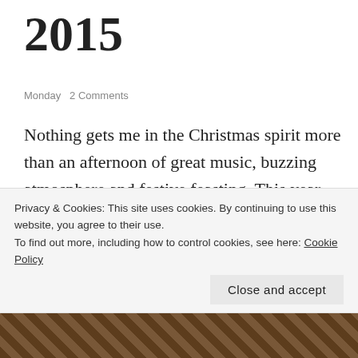2015
Monday   2 Comments
Nothing gets me in the Christmas spirit more than an afternoon of great music, buzzing atmosphere and festive feasting. This year, Tobacco Dock played host to another round of Taste of London Winter (can we please go back to calling it Taste of Christmas?). The halls were decked with tinsel, Christmas trees lined railings, lights and decorations hung from the rafters, and it was characteristically freezing – an element I would've happily
Privacy & Cookies: This site uses cookies. By continuing to use this website, you agree to their use.
To find out more, including how to control cookies, see here: Cookie Policy
Close and accept
[Figure (photo): Bottom strip showing a decorative patterned surface, appears to be a woven or latticed structure with brown tones]